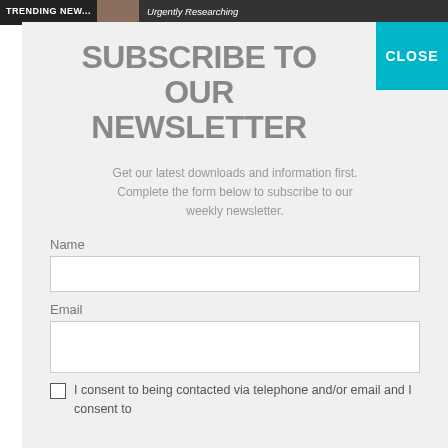TRENDING NEWS | Urgently Researching
SUBSCRIBE TO OUR NEWSLETTER
Get our latest downloads and information first. Complete the form below to subscribe to our weekly newsletter.
Name
Email
I consent to being contacted via telephone and/or email and I consent to